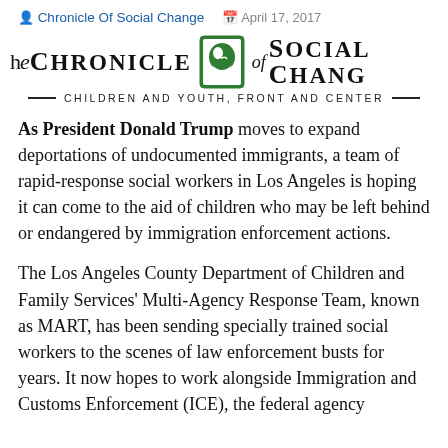Chronicle Of Social Change   April 17, 2017
[Figure (logo): The Chronicle of Social Change logo: large serif text reading 'The CHRONICLE of SOCIAL CHANGE' with a green square icon depicting a hand holding a child, and tagline 'CHILDREN AND YOUTH, FRONT AND CENTER']
As President Donald Trump moves to expand deportations of undocumented immigrants, a team of rapid-response social workers in Los Angeles is hoping it can come to the aid of children who may be left behind or endangered by immigration enforcement actions.
The Los Angeles County Department of Children and Family Services' Multi-Agency Response Team, known as MART,  has been sending specially trained social workers to the scenes of law enforcement busts for years. It now hopes to work alongside Immigration and Customs Enforcement (ICE), the federal agency charged with enforcing immigration law, and the local